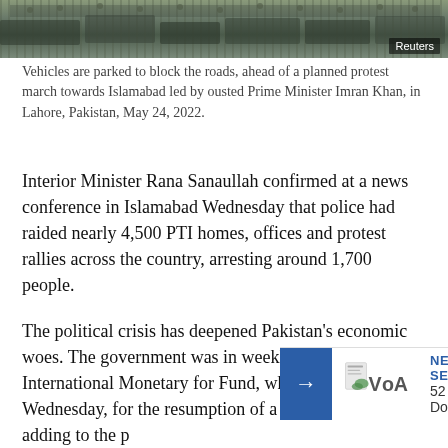[Figure (photo): Aerial or overhead view of vehicles parked to block roads, with crowd visible, taken ahead of a protest march. Reuters watermark in bottom right.]
Vehicles are parked to block the roads, ahead of a planned protest march towards Islamabad led by ousted Prime Minister Imran Khan, in Lahore, Pakistan, May 24, 2022.
Interior Minister Rana Sanaullah confirmed at a news conference in Islamabad Wednesday that police had raided nearly 4,500 PTI homes, offices and protest rallies across the country, arresting around 1,700 people.
The political crisis has deepened Pakistan’s economic woes. The government was in weeklong talks with the International Monetary for Fund, which ended Wednesday, for the resumption of a $6 billion bailout adding to the p
[Figure (logo): VOA (Voice of America) logo banner with blue arrow button on left, VOA logo in center, and 'NEW SERIES / 52 Documentary' text on right.]